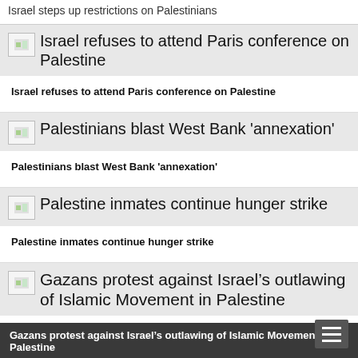Israel steps up restrictions on Palestinians
[Figure (photo): Thumbnail image placeholder for article about Israel refusing to attend Paris conference]
Israel refuses to attend Paris conference on Palestine
Israel refuses to attend Paris conference on Palestine
[Figure (photo): Thumbnail image placeholder for article about Palestinians blasting West Bank annexation]
Palestinians blast West Bank 'annexation'
Palestinians blast West Bank 'annexation'
[Figure (photo): Thumbnail image placeholder for article about Palestine inmates hunger strike]
Palestine inmates continue hunger strike
Palestine inmates continue hunger strike
[Figure (photo): Thumbnail image placeholder for article about Gazans protest against Israel's outlawing of Islamic Movement]
Gazans protest against Israel’s outlawing of Islamic Movement in Palestine
Gazans protest against Israel’s outlawing of Islamic Movement in Palestine